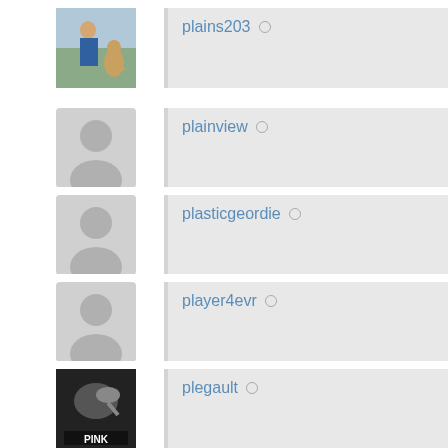[Figure (photo): Profile photo for plains203: person with animal (kangaroo) outdoors]
plains203 ○
[Figure (illustration): Default grey silhouette avatar for plainview]
plainview ○
[Figure (illustration): Default grey silhouette avatar for plasticgeordie]
plasticgeordie ○
[Figure (illustration): Default grey silhouette avatar for player4evr]
player4evr ○
[Figure (photo): Profile image for plegault: black and white image with PINK text and animal]
plegault ○
[Figure (illustration): Default grey silhouette avatar for plodkiller]
plodkiller ○
[Figure (illustration): Default grey silhouette avatar for plqmule]
plqmule ○